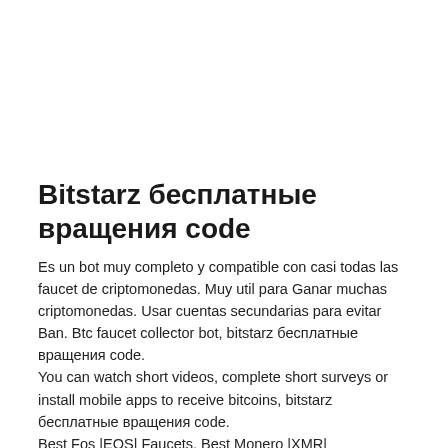Bitstarz бесплатные вращения code
Es un bot muy completo y compatible con casi todas las faucet de criptomonedas. Muy util para Ganar muchas criptomonedas. Usar cuentas secundarias para evitar Ban. Btc faucet collector bot, bitstarz бесплатные вращения code.
You can watch short videos, complete short surveys or install mobile apps to receive bitcoins, bitstarz бесплатные вращения code.
Best Fos |EOS| Faucets, Best Monero |XMR|